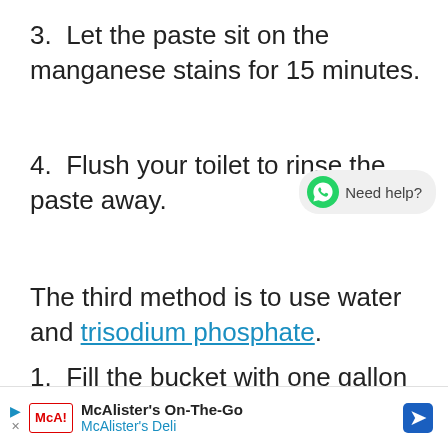3. Let the paste sit on the manganese stains for 15 minutes.
4. Flush your toilet to rinse the paste away.
The third method is to use water and trisodium phosphate.
1. Fill the bucket with one gallon of water. Add 2 to 4 tablespoons of trisodium phosphate that you can
[Figure (other): WhatsApp 'Need help?' chat button overlay]
[Figure (other): McAlister's On-The-Go advertisement bar at bottom of page]